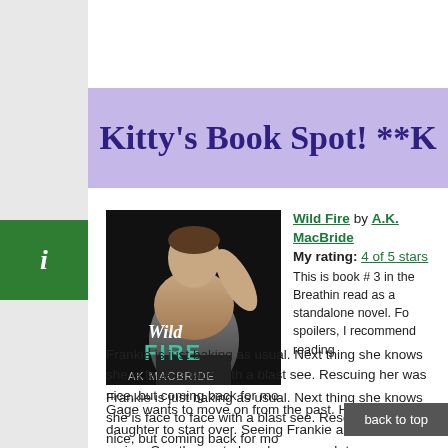Kitty's Book Spot! **K
[Figure (photo): Book cover for Wild Fire by AK MacBride showing a shirtless man with text 'Wild Fire' and 'AK MacBride' in teal/green lettering on a dark background]
Wild Fire by A.K. MacBride
My rating: 4 of 5 stars
This is book # 3 in the Breathin read as a standalone novel. Fo spoilers, I recommend reading
Frankie is just baking as usual. Next thing she knows she is face to face with a blast see. Rescuing her was nice, but coming back for mo
Gage wants to move on from the past. He comes bac daughter to start over. Seeing Frankie ale his heart racing. Can they get along long enough to w
back to top